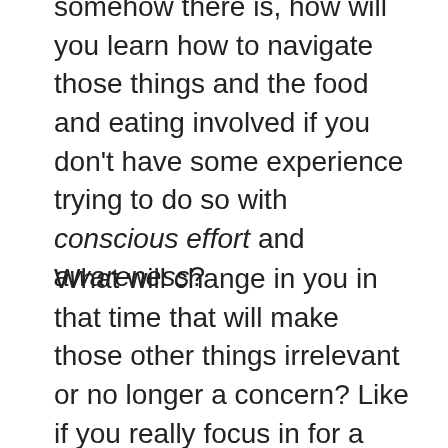somehow there is, how will you learn how to navigate those things and the food and eating involved if you don't have some experience trying to do so with conscious effort and awareness?
What will change in you in that time that will make those other things irrelevant or no longer a concern? Like if you really focus in for a few months, what is then different about the next vacation, birthday, or event? I want you to really think about it and answer honestly. So really think about what you think needs to change to make those things easier to